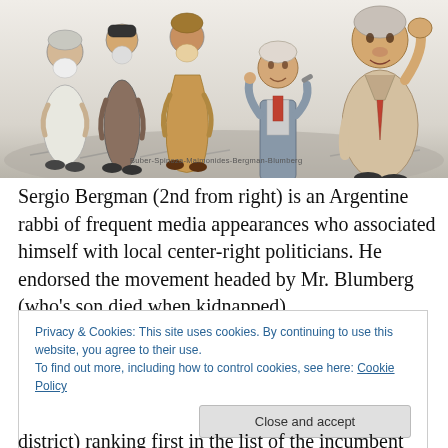[Figure (illustration): Political cartoon showing multiple caricatured figures standing in a field. Caption at bottom reads: Buber-Spinoza-Maimonides-Bergman-Blumberg]
Buber-Spinoza-Maimonides-Bergman-Blumberg
Sergio Bergman (2nd from right) is an Argentine rabbi of frequent media appearances who associated himself with local center-right politicians. He endorsed the movement headed by Mr. Blumberg (who's son died when kidnapped)
Privacy & Cookies: This site uses cookies. By continuing to use this website, you agree to their use.
To find out more, including how to control cookies, see here: Cookie Policy
district) ranking first in the list of the incumbent Mayor